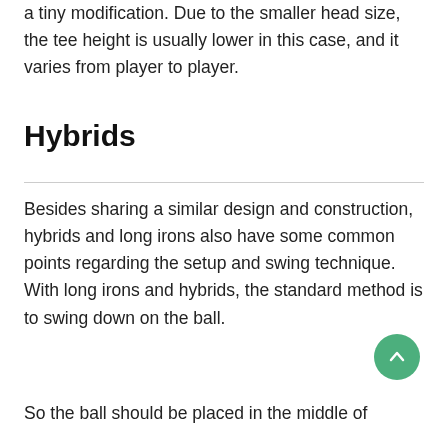a tiny modification. Due to the smaller head size, the tee height is usually lower in this case, and it varies from player to player.
Hybrids
Besides sharing a similar design and construction, hybrids and long irons also have some common points regarding the setup and swing technique. With long irons and hybrids, the standard method is to swing down on the ball.
So the ball should be placed in the middle of